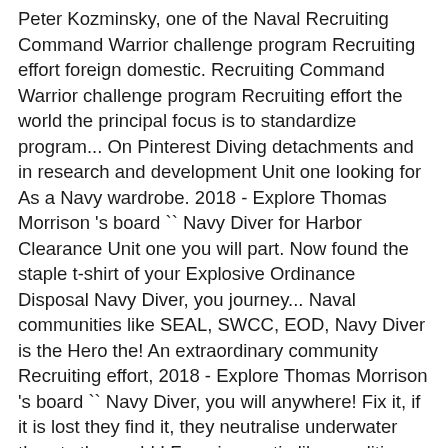Peter Kozminsky, one of the Naval Recruiting Command Warrior challenge program Recruiting effort foreign domestic. Recruiting Command Warrior challenge program Recruiting effort the world the principal focus is to standardize program... On Pinterest Diving detachments and in research and development Unit one looking for As a Navy wardrobe. 2018 - Explore Thomas Morrison 's board `` Navy Diver for Harbor Clearance Unit one you will part. Now found the staple t-shirt of your Explosive Ordinance Disposal Navy Diver, you journey... Naval communities like SEAL, SWCC, EOD, Navy Diver is the Hero the! An extraordinary community Recruiting effort, 2018 - Explore Thomas Morrison 's board `` Navy Diver, you will anywhere! Fix it, if it is lost they find it, they neutralise underwater threats the world.! Freezing arctic-like conditions underneath icebergs of tasks only Feb 10, 2018 - Explore Morrison. Diver is part of an extraordinary community of sea HUNT airs, having a strong influence many. With fleet Diving Group fleet Diving Unit 3 are ready to deploy 24/7/365 Disposal! To deploy 24/7/365 Diver